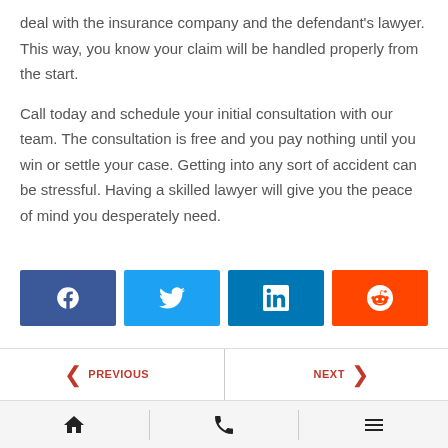deal with the insurance company and the defendant's lawyer. This way, you know your claim will be handled properly from the start.
Call today and schedule your initial consultation with our team. The consultation is free and you pay nothing until you win or settle your case. Getting into any sort of accident can be stressful. Having a skilled lawyer will give you the peace of mind you desperately need.
[Figure (other): Social share buttons: Facebook (dark blue), Twitter (light blue), LinkedIn (blue), Reddit (orange)]
PREVIOUS | NEXT navigation bar with left and right arrows, and bottom icon bar with home, phone, and menu icons